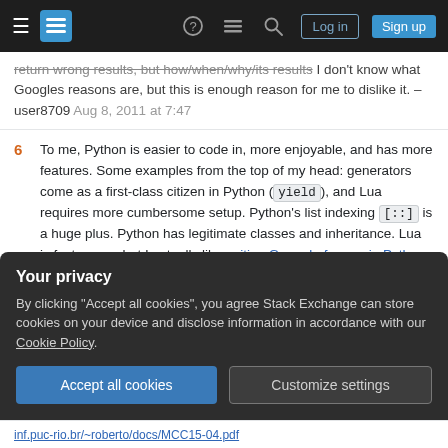Stack Exchange navigation bar with hamburger menu, logo, help, chat, search, Log in, Sign up
return wrong results, but how/when/why/its results I don't know what Googles reasons are, but this is enough reason for me to dislike it. – user8709 Aug 8, 2011 at 7:47
6 To me, Python is easier to code in, more enjoyable, and has more features. Some examples from the top of my head: generators come as a first-class citizen in Python ( yield ), and Lua requires more cumbersome setup. Python's list indexing [::] is a huge plus. Python has legitimate classes and inheritance. Lua is faster, yes, but I actually like writing Go code for use in Python when speed is important. – Frank Bryce May 17, 2016 at 17:54
Your privacy
By clicking "Accept all cookies", you agree Stack Exchange can store cookies on your device and disclose information in accordance with our Cookie Policy.
Accept all cookies
Customize settings
inf.puc-rio.br/~roberto/docs/MCC15-04.pdf